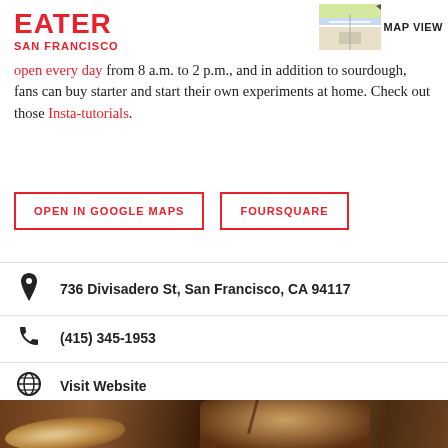EATER SAN FRANCISCO
[Figure (map): Small map thumbnail with MAP VIEW label]
open every day from 8 a.m. to 2 p.m., and in addition to sourdough, fans can buy starter and start their own experiments at home. Check out those Insta-tutorials.
OPEN IN GOOGLE MAPS
FOURSQUARE
736 Divisadero St, San Francisco, CA 94117
(415) 345-1953
Visit Website
[Figure (photo): Overhead photo of several artisan sourdough bread loaves on a dark surface, including a seeded loaf with a score mark and sliced sourdough bread]